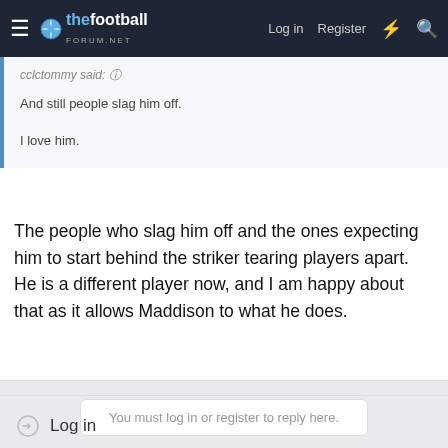thefootball forum.net — Log in | Register
cclctommy said: And still people slag him off. I love him.
The people who slag him off and the ones expecting him to start behind the striker tearing players apart. He is a different player now, and I am happy about that as it allows Maddison to what he does.
You must log in or register to reply here.
Share:
Log in